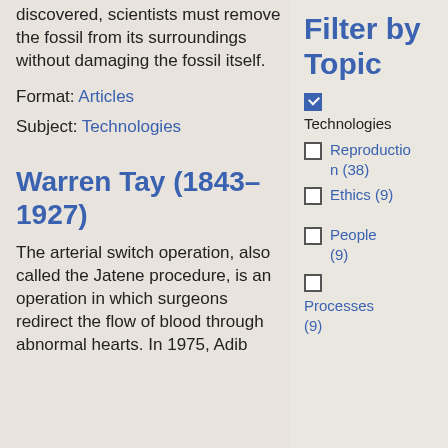discovered, scientists must remove the fossil from its surroundings without damaging the fossil itself.
Format: Articles
Subject: Technologies
Warren Tay (1843–1927)
The arterial switch operation, also called the Jatene procedure, is an operation in which surgeons redirect the flow of blood through abnormal hearts. In 1975, Adib
Filter by Topic
Technologies (checked)
Reproduction (38)
Ethics (9)
People (9)
Processes (9)